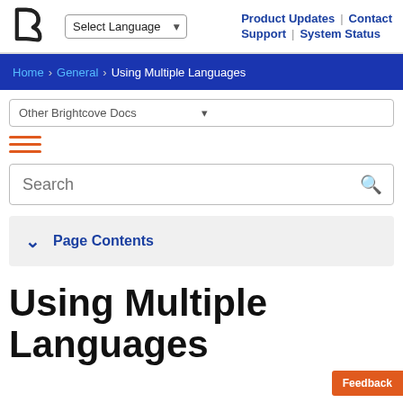Brightcove logo | Select Language | Product Updates | Contact | Support | System Status
Home › General › Using Multiple Languages
Other Brightcove Docs
Search
Page Contents
Using Multiple Languages